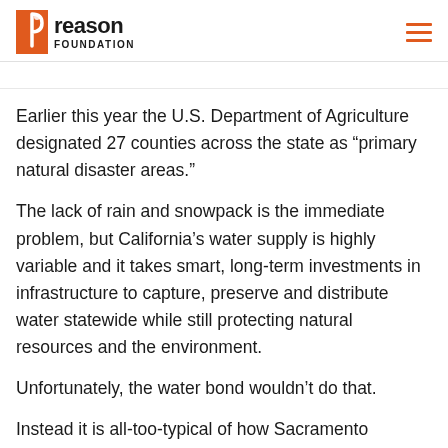Reason Foundation
Earlier this year the U.S. Department of Agriculture designated 27 counties across the state as “primary natural disaster areas.”
The lack of rain and snowpack is the immediate problem, but California’s water supply is highly variable and it takes smart, long-term investments in infrastructure to capture, preserve and distribute water statewide while still protecting natural resources and the environment.
Unfortunately, the water bond wouldn’t do that.
Instead it is all-too-typical of how Sacramento